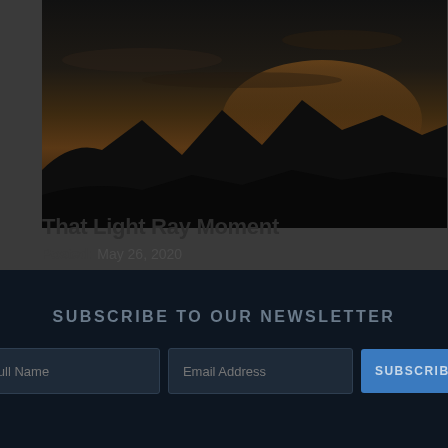[Figure (photo): Dark landscape photo showing mountain silhouettes against a dramatic sunset/twilight sky with orange and dark tones]
That Light Ray Moment
Posted: May 26, 2020
SUBSCRIBE TO OUR NEWSLETTER
[Figure (illustration): Circular logo/seal with a manta ray or eagle ray illustration in dark tones on a dark navy background]